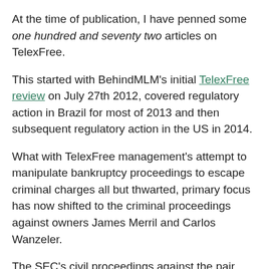At the time of publication, I have penned some one hundred and seventy two articles on TelexFree.
This started with BehindMLM's initial TelexFree review on July 27th 2012, covered regulatory action in Brazil for most of 2013 and then subsequent regulatory action in the US in 2014.
What with TelexFree management's attempt to manipulate bankruptcy proceedings to escape criminal charges all but thwarted, primary focus has now shifted to the criminal proceedings against owners James Merril and Carlos Wanzeler.
The SEC's civil proceedings against the pair and several top TelexFree investors have been put on hold until the conclusion of the criminal trial.
Along with Carlos Costa, Merril And Wanzeler masterminded a scheme which saw a billion dollars stolen from victims around the world…